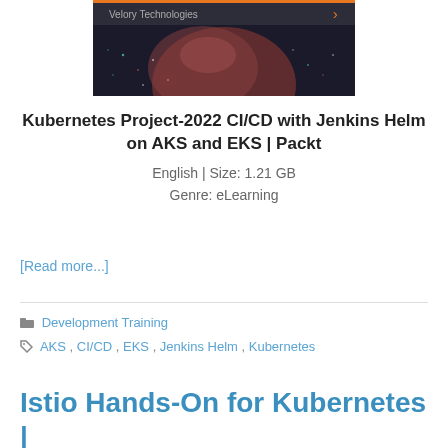[Figure (screenshot): Book cover thumbnail for Kubernetes Project-2022 CI/CD with Jenkins Helm on AKS and EKS, Packt publication, showing a dark cosmic/planetary background with orange accent and Velory Technologies branding]
Kubernetes Project-2022 CI/CD with Jenkins Helm on AKS and EKS | Packt
English | Size: 1.21 GB
Genre: eLearning
[Read more...]
Development Training
AKS , CI/CD , EKS , Jenkins Helm , Kubernetes
Istio Hands-On for Kubernetes |